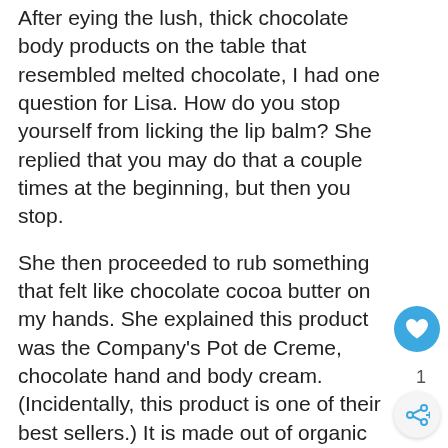After eying the lush, thick chocolate body products on the table that resembled melted chocolate, I had one question for Lisa. How do you stop yourself from licking the lip balm?  She replied that you may do that a couple times at the beginning, but then you stop.

She then proceeded to rub something that felt like chocolate cocoa butter on my hands.  She explained this  product was the Company's Pot de Creme, chocolate hand and body cream. (Incidentally, this product is one of their best sellers.) It is made out of organic chocolate and infused with exotic oils known to moisturize the skin without leaving a trace.   Not only did my skin feel soft, it smelled wonderful too.  A couple times during the night I caught myself smelling my hands.